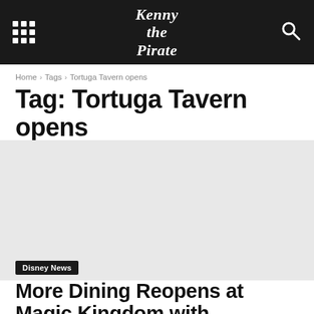Kenny the Pirate
Home › Tags › Tortuga Tavern opens
Tag: Tortuga Tavern opens
[Figure (photo): Article thumbnail image placeholder]
Disney News
More Dining Reopens at Magic Kingdom with